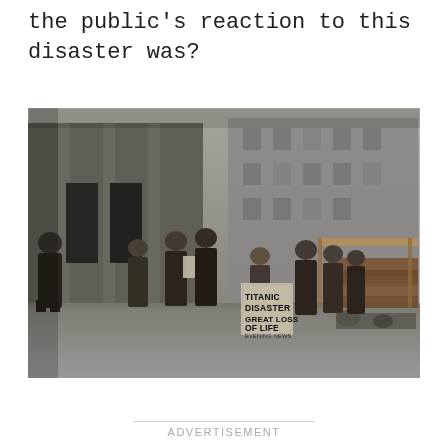the public's reaction to this disaster was?
[Figure (photo): Historical colorized photograph of a newsboy on a city street holding a newspaper with the headline 'TITANIC DISASTER GREAT LOSS OF LIFE EVENING NEWS'. Several men in early 20th century clothing stand around on the sidewalk in front of a large stone building, some reading newspapers.]
ADVERTISEMENT